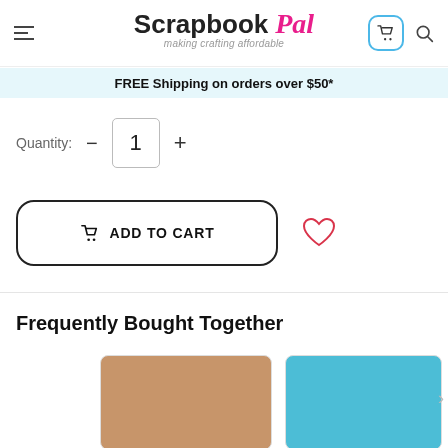Scrapbook Pal — making crafting affordable
FREE Shipping on orders over $50*
Quantity: — 1 +
ADD TO CART
Frequently Bought Together
[Figure (photo): Tan/beige colored cardstock product thumbnail]
[Figure (photo): Light blue colored cardstock product thumbnail]